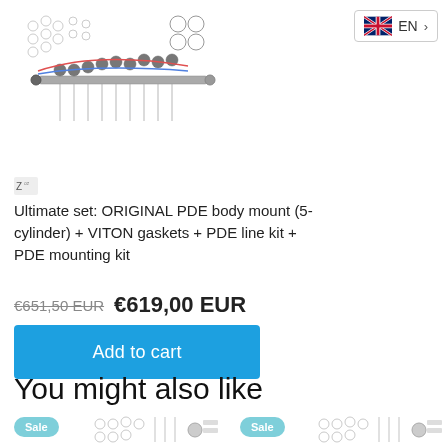[Figure (photo): Product photo of PDE body mount kit with gaskets and line kit components on white background]
[Figure (logo): Small brand/vendor icon]
Ultimate set: ORIGINAL PDE body mount (5-cylinder) + VITON gaskets + PDE line kit + PDE mounting kit
€651,50 EUR  €619,00 EUR
Add to cart
You might also like
[Figure (photo): Sale product thumbnail left - PDE kit parts]
[Figure (photo): Sale product thumbnail right - PDE kit parts]